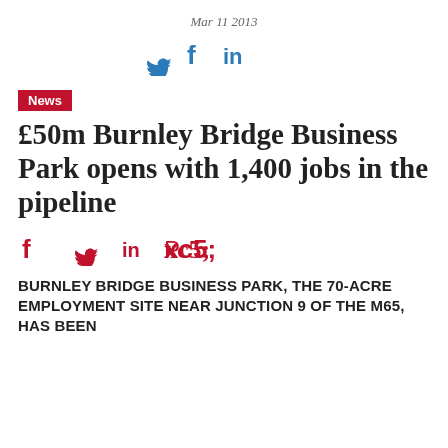Mar 11 2013
[Figure (other): Social share icons (Twitter, Facebook, LinkedIn) in blue at top of page]
News
£50m Burnley Bridge Business Park opens with 1,400 jobs in the pipeline
[Figure (other): Social share icons (Facebook, Twitter, LinkedIn, Pinterest) in red/crimson below headline]
BURNLEY BRIDGE BUSINESS PARK, THE 70-ACRE EMPLOYMENT SITE NEAR JUNCTION 9 OF THE M65, HAS BEEN